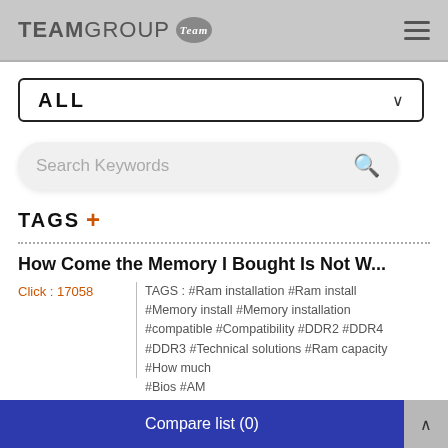TEAMGROUP Team
ALL
Search Keywords
TAGS +
How Come the Memory I Bought Is Not W...
Click : 17058
TAGS : #Ram installation #Ram install #Memory install #Memory installation #compatible #Compatibility #DDR2 #DDR4 #DDR3 #Technical solutions #Ram capacity #How much #Bios #AM #Ram #Me
Compare list (0)